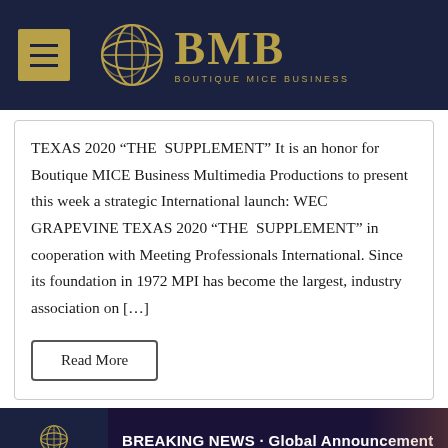BMB BOUTIQUE MICE BUSINESS
TEXAS 2020 “THE SUPPLEMENT” It is an honor for Boutique MICE Business Multimedia Productions to present this week a strategic International launch: WEC GRAPEVINE TEXAS 2020 “THE SUPPLEMENT” in cooperation with Meeting Professionals International. Since its foundation in 1972 MPI has become the largest, industry association on […]
Read More
[Figure (other): BMB banner with BREAKING NEWS - Global Announcement MPI – Meeting Professionals International]